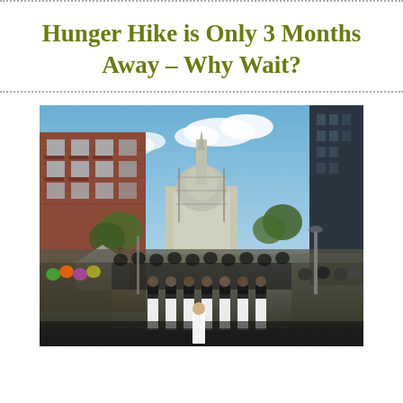Hunger Hike is Only 3 Months Away – Why Wait?
[Figure (photo): Outdoor crowd scene in a city street with cheerleaders and participants in the foreground, a large brick apartment building on the left, a capitol building dome with scaffolding in the center background, and a dark glass skyscraper on the right. Trees and tents visible along the street.]